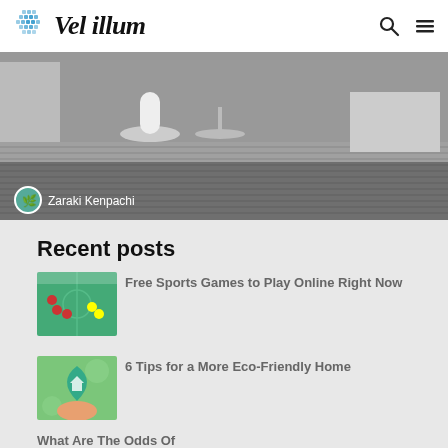Vel illum
[Figure (photo): Interior room photo showing white chairs and a striped floor, with author avatar and name 'Zaraki Kenpachi' overlaid at bottom left]
Recent posts
[Figure (photo): Sports game thumbnail showing soccer/football players on a field]
Free Sports Games to Play Online Right Now
[Figure (photo): Eco-friendly thumbnail showing a hand holding a green leaf with a house icon]
6 Tips for a More Eco-Friendly Home
What Are The Odds Of